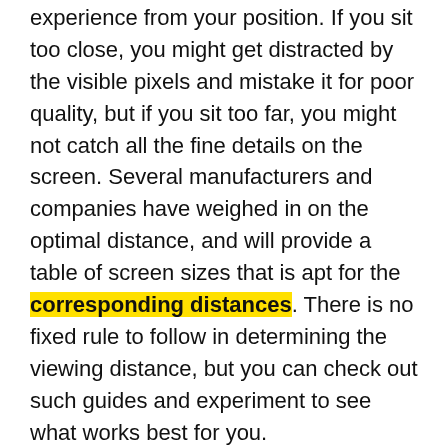experience from your position. If you sit too close, you might get distracted by the visible pixels and mistake it for poor quality, but if you sit too far, you might not catch all the fine details on the screen. Several manufacturers and companies have weighed in on the optimal distance, and will provide a table of screen sizes that is apt for the corresponding distances. There is no fixed rule to follow in determining the viewing distance, but you can check out such guides and experiment to see what works best for you.
Overexposure to Sunlight
Exposure to sunlight can affect your TV's image quality while outside noise can cause acoustic disruptions. When recreating the cinema